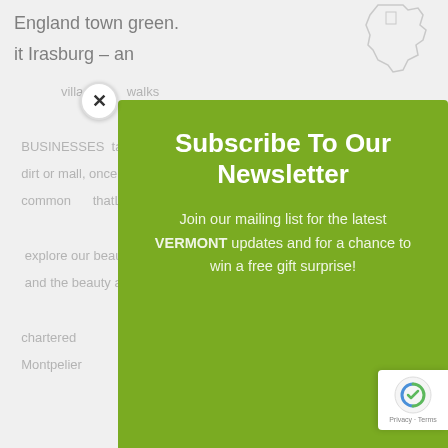England town green.
it Irasburg – an
[Figure (screenshot): Newsletter subscription modal overlay on a green background (#7aab22) with title 'Subscribe To Our Newsletter' and body text about joining mailing list for Vermont updates and chance to win a free gift surprise. A close (X) button appears at top left of modal. Background page content is partially visible behind the modal.]
Subscribe To Our Newsletter
Join our mailing list for the latest VERMONT updates and for a chance to win a free gift surprise!